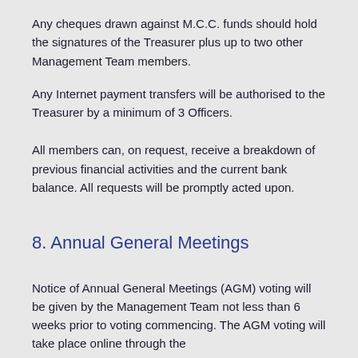Any cheques drawn against M.C.C. funds should hold the signatures of the Treasurer plus up to two other Management Team members.
Any Internet payment transfers will be authorised to the Treasurer by a minimum of 3 Officers.
All members can, on request, receive a breakdown of previous financial activities and the current bank balance. All requests will be promptly acted upon.
8. Annual General Meetings
Notice of Annual General Meetings (AGM) voting will be given by the Management Team not less than 6 weeks prior to voting commencing. The AGM voting will take place online through the